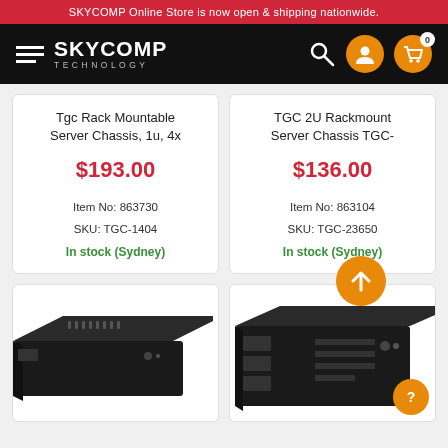SKYCOMP Online Store is now open & shipping nationwide.
[Figure (logo): SKYCOMP TECHNOLOGY logo with hamburger menu lines on black header background, search icon, user icon, cart icon with badge 0]
Tgc Rack Mountable Server Chassis, 1u, 4x
$193.00
Item No: 863730
SKU: TGC-1404
In stock (Sydney)
TGC 2U Rackmount Server Chassis TGC-
$136.00
Item No: 863104
SKU: TGC-23650
In stock (Sydney)
[Figure (photo): Black 1U server rack chassis photographed at angle from front-left]
[Figure (photo): Black 2U server rack chassis photographed at angle showing front panel with drive bays]